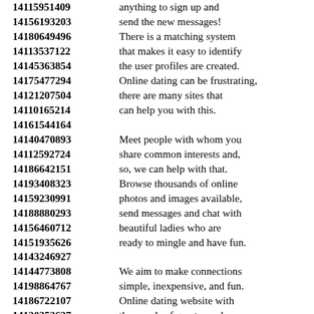14115951409 anything to sign up and
14156193203 send the new messages!
14180649496 There is a matching system
14113537122 that makes it easy to identify
14145363854 the user profiles are created.
14175477294 Online dating can be frustrating,
14121207504 there are many sites that
14110165214 can help you with this.
14161544164
14140470893 Meet people with whom you
14112592724 share common interests and,
14186642151 so, we can help with that.
14193408323 Browse thousands of online
14159230991 photos and images available,
14188880293 send messages and chat with
14156460712 beautiful ladies who are
14151935626 ready to mingle and have fun.
14143246927
14144773808 We aim to make connections
14198864767 simple, inexpensive, and fun.
14186722107 Online dating website with
14120353627 thousands of great people.
14188985339 There are plenty of opportunities
14129177779 where women are looking to
14168826311 connect with someone special